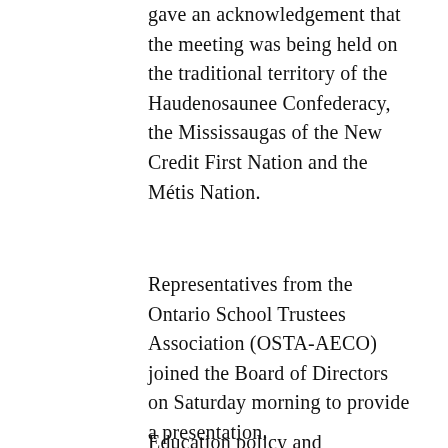gave an acknowledgement that the meeting was being held on the traditional territory of the Haudenosaunee Confederacy, the Mississaugas of the New Credit First Nation and the Métis Nation.
Representatives from the Ontario School Trustees Association (OSTA-AECO) joined the Board of Directors on Saturday morning to provide a presentation.
Education policy and